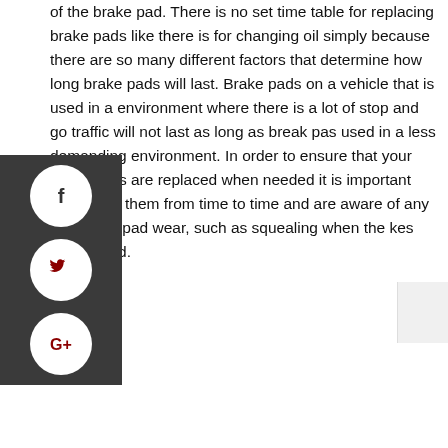of the brake pad. There is no set time table for replacing brake pads like there is for changing oil simply because there are so many different factors that determine how long brake pads will last. Brake pads on a vehicle that is used in a environment where there is a lot of stop and go traffic will not last as long as break pas used in a less demanding environment. In order to ensure that your brake pads are replaced when needed it is important that check them from time to time and are aware of any s of brake pad wear, such as squealing when the kes are applied.
[Figure (infographic): Social media share buttons sidebar: Facebook (f), Twitter (bird icon), Google+ (G+) displayed as white circles on a dark grey background panel on the left side of the page.]